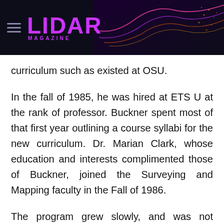LIDAR MAGAZINE
curriculum such as existed at OSU.
In the fall of 1985, he was hired at ETS U at the rank of professor. Buckner spent most of that first year outlining a course syllabi for the new curriculum. Dr. Marian Clark, whose education and interests complimented those of Buckner, joined the Surveying and Mapping faculty in the Fall of 1986.
The program grew slowly, and was not always met with enthusiasm. In fact, there was much opposition from some surveyors, especially those who felt that no college education was necessary